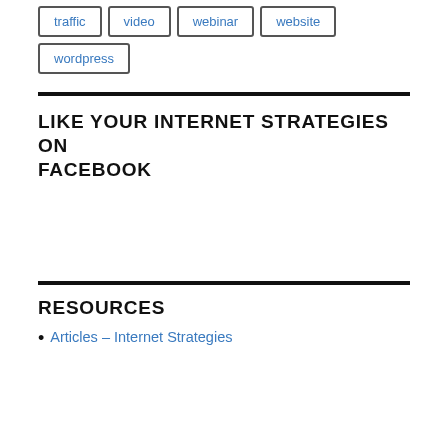traffic
video
webinar
website
wordpress
LIKE YOUR INTERNET STRATEGIES ON FACEBOOK
RESOURCES
Articles – Internet Strategies